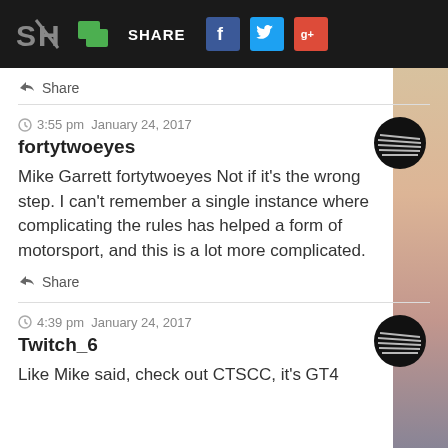SH | SHARE [Facebook] [Twitter] [Google+]
Share
3:55 pm  January 24, 2017
fortytwoeyes
Mike Garrett fortytwoeyes Not if it's the wrong step. I can't remember a single instance where complicating the rules has helped a form of motorsport, and this is a lot more complicated.
Share
4:39 pm  January 24, 2017
Twitch_6
Like Mike said, check out CTSCC, it's GT4